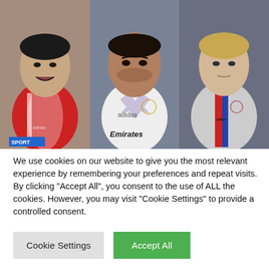[Figure (photo): Three soccer/football players side by side: left player in red Ajax kit, middle player in white Real Madrid Emirates jersey, right player in Barcelona kit with red and blue stripe.]
We use cookies on our website to give you the most relevant experience by remembering your preferences and repeat visits. By clicking "Accept All", you consent to the use of ALL the cookies. However, you may visit "Cookie Settings" to provide a controlled consent.